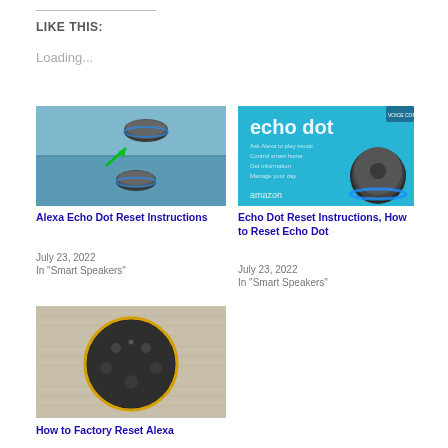LIKE THIS:
Loading...
[Figure (photo): Screenshot of Alexa Echo Dot comparison showing two Echo Dot devices with a green arrow pointing between them on a blue background]
Alexa Echo Dot Reset Instructions
July 23, 2022
In "Smart Speakers"
[Figure (photo): Amazon Echo Dot product box with bright blue background showing 'echo dot' branding and an Echo Dot device]
Echo Dot Reset Instructions, How to Reset Echo Dot
July 23, 2022
In "Smart Speakers"
[Figure (photo): Top-down view of an Amazon Echo Dot (3rd gen) showing the circular device with action buttons on a carpet background]
How to Factory Reset Alexa